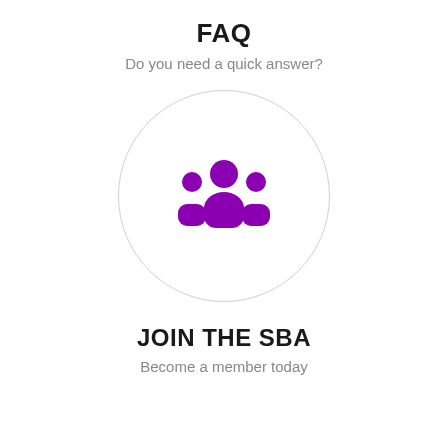FAQ
Do you need a quick answer?
[Figure (illustration): Purple group/community icon showing three people silhouettes inside a light gray circular border]
JOIN THE SBA
Become a member today